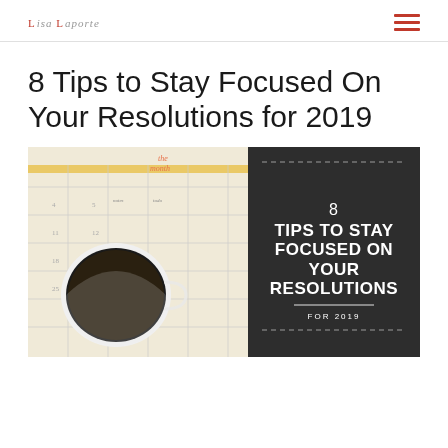Lisa Laporte
8 Tips to Stay Focused On Your Resolutions for 2019
[Figure (photo): A blog post featured image showing a top-down photo of a white coffee mug on a calendar/planner page on the left, and a dark charcoal banner on the right with bold white text reading '8 TIPS TO STAY FOCUSED ON YOUR RESOLUTIONS FOR 2019']